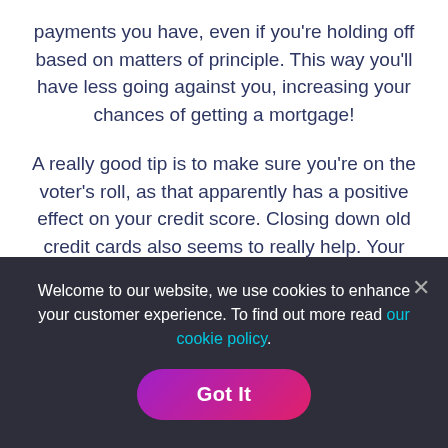payments you have, even if you're holding off based on matters of principle. This way you'll have less going against you, increasing your chances of getting a mortgage!
A really good tip is to make sure you're on the voter's roll, as that apparently has a positive effect on your credit score. Closing down old credit cards also seems to really help. Your Mortgage Advisor in Manchester will run through your credit report in the early stages, giving advice on what you could do to make sure your credit score looks
Welcome to our website, we use cookies to enhance your customer experience. To find out more read our cookie policy.